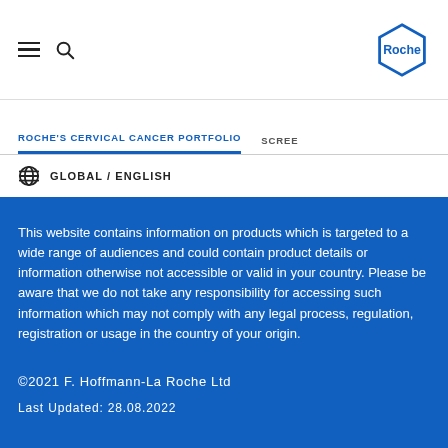Roche logo, hamburger menu, search icon
ROCHE'S CERVICAL CANCER PORTFOLIO  SCREE
GLOBAL / ENGLISH
This website contains information on products which is targeted to a wide range of audiences and could contain product details or information otherwise not accessible or valid in your country. Please be aware that we do not take any responsibility for accessing such information which may not comply with any legal process, regulation, registration or usage in the country of your origin.
©2021 F. Hoffmann-La Roche Ltd
Last Updated: 28.08.2022